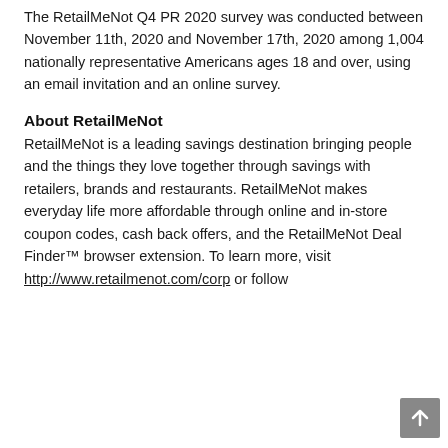The RetailMeNot Q4 PR 2020 survey was conducted between November 11th, 2020 and November 17th, 2020 among 1,004 nationally representative Americans ages 18 and over, using an email invitation and an online survey.
About RetailMeNot
RetailMeNot is a leading savings destination bringing people and the things they love together through savings with retailers, brands and restaurants. RetailMeNot makes everyday life more affordable through online and in-store coupon codes, cash back offers, and the RetailMeNot Deal Finder™ browser extension. To learn more, visit http://www.retailmenot.com/corp or follow